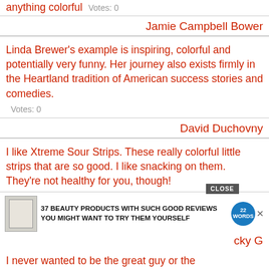anything colorful  Votes: 0
Jamie Campbell Bower
Linda Brewer's example is inspiring, colorful and potentially very funny. Her journey also exists firmly in the Heartland tradition of American success stories and comedies.
Votes: 0
David Duchovny
I like Xtreme Sour Strips. These really colorful little strips that are so good. I like snacking on them. They're not healthy for you, though!
Votes:
[Figure (other): Advertisement overlay: '37 BEAUTY PRODUCTS WITH SUCH GOOD REVIEWS YOU MIGHT WANT TO TRY THEM YOURSELF' with a product image and 22 Words badge, plus a CLOSE button]
cky G
I never wanted to be the great guy or the